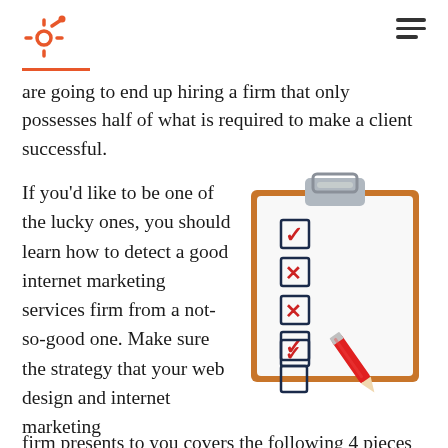HubSpot logo and navigation
are going to end up hiring a firm that only possesses half of what is required to make a client successful.
If you'd like to be one of the lucky ones, you should learn how to detect a good internet marketing services firm from a not-so-good one. Make sure the strategy that your web design and internet marketing firm presents to you covers the following 4 pieces of a
[Figure (illustration): A clipboard illustration with checkboxes showing checkmarks and X marks, with a red pencil pointing at the checklist items.]